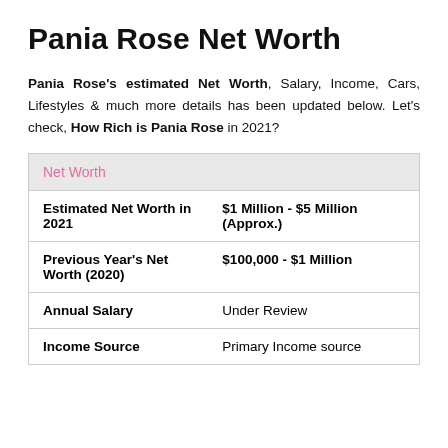Pania Rose Net Worth
Pania Rose's estimated Net Worth, Salary, Income, Cars, Lifestyles & much more details has been updated below. Let's check, How Rich is Pania Rose in 2021?
| Net Worth |  |
| --- | --- |
| Estimated Net Worth in 2021 | $1 Million - $5 Million (Approx.) |
| Previous Year's Net Worth (2020) | $100,000 - $1 Million |
| Annual Salary | Under Review |
| Income Source | Primary Income source |